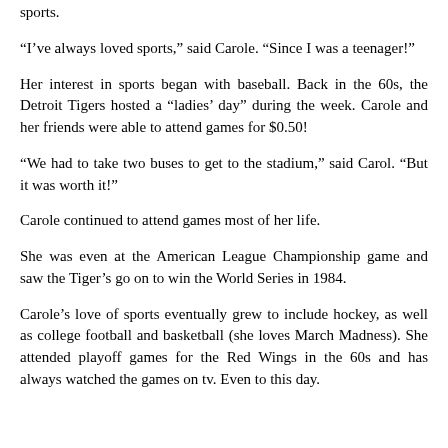sports.
“I’ve always loved sports,” said Carole. “Since I was a teenager!”
Her interest in sports began with baseball. Back in the 60s, the Detroit Tigers hosted a “ladies’ day” during the week. Carole and her friends were able to attend games for $0.50!
“We had to take two buses to get to the stadium,” said Carol. “But it was worth it!”
Carole continued to attend games most of her life.
She was even at the American League Championship game and saw the Tiger’s go on to win the World Series in 1984.
Carole’s love of sports eventually grew to include hockey, as well as college football and basketball (she loves March Madness). She attended playoff games for the Red Wings in the 60s and has always watched the games on tv. Even to this day.